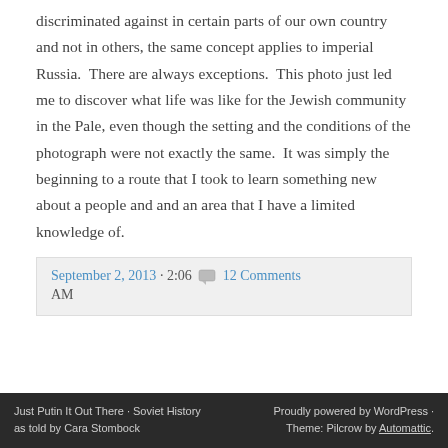discriminated against in certain parts of our own country and not in others, the same concept applies to imperial Russia.  There are always exceptions.  This photo just led me to discover what life was like for the Jewish community in the Pale, even though the setting and the conditions of the photograph were not exactly the same.  It was simply the beginning to a route that I took to learn something new about a people and and an area that I have a limited knowledge of.
September 2, 2013 · 2:06 AM  12 Comments
Just Putin It Out There · Soviet History as told by Cara Stombock    Proudly powered by WordPress · Theme: Pilcrow by Automattic.